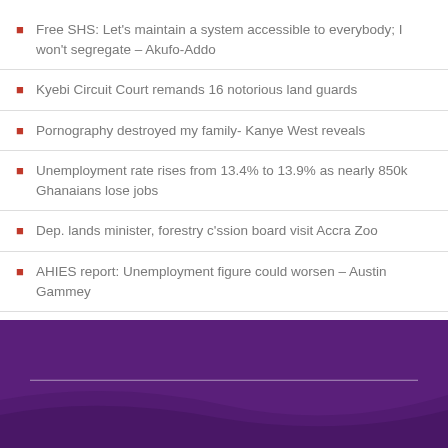Free SHS: Let’s maintain a system accessible to everybody; I won’t segregate – Akufo-Addo
Kyebi Circuit Court remands 16 notorious land guards
Pornography destroyed my family- Kanye West reveals
Unemployment rate rises from 13.4% to 13.9% as nearly 850k Ghanaians lose jobs
Dep. lands minister, forestry c’ssion board visit Accra Zoo
AHIES report: Unemployment figure could worsen – Austin Gammey
Gun jams during bid to kill Argentina vice-president
[Figure (other): Dark purple/violet footer background with a faint horizontal divider line and subtle decorative wave pattern at bottom]